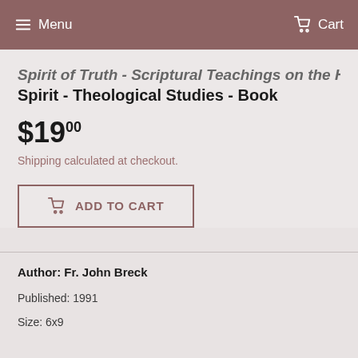Menu  Cart
Spirit of Truth - Scriptural Teachings on the Holy Spirit - Theological Studies - Book
$19.00
Shipping calculated at checkout.
ADD TO CART
Author: Fr. John Breck
Published: 1991
Size: 6x9